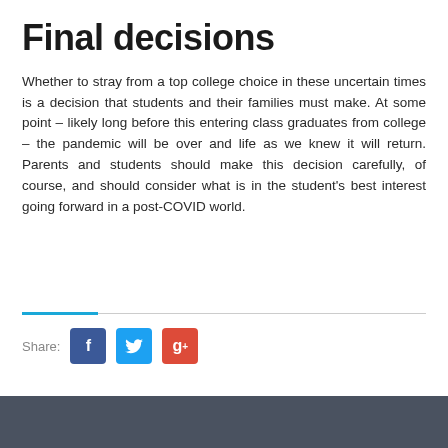Final decisions
Whether to stray from a top college choice in these uncertain times is a decision that students and their families must make. At some point – likely long before this entering class graduates from college – the pandemic will be over and life as we knew it will return. Parents and students should make this decision carefully, of course, and should consider what is in the student's best interest going forward in a post-COVID world.
[Figure (infographic): Social share buttons for Facebook, Twitter, and Google Plus with a 'Share:' label]